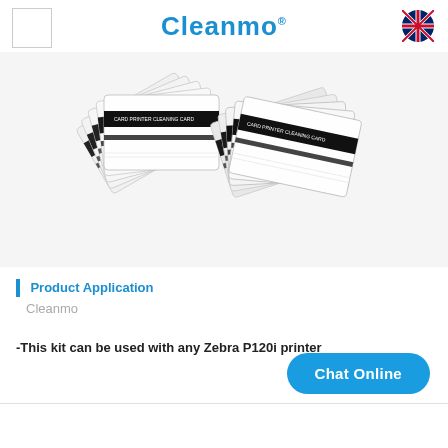Cleanmo®
[Figure (photo): Cleanmo card printer cleaning kit cards fanned out on a white/light grey background. Two groups of white cleaning cards with black magnetic stripes labeled 'CARD PRINTER CLEANING CARD'.]
Product Application
Cleanmo
-This kit can be used with any Zebra P120i printer
Chat Online